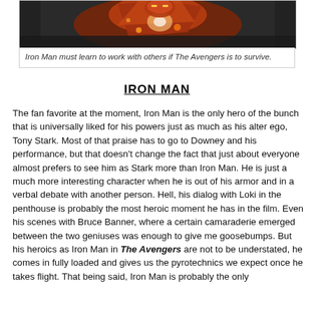[Figure (photo): Iron Man in armored suit flying or in action pose, reddish and metallic tones]
Iron Man must learn to work with others if The Avengers is to survive.
IRON MAN
The fan favorite at the moment, Iron Man is the only hero of the bunch that is universally liked for his powers just as much as his alter ego, Tony Stark. Most of that praise has to go to Downey and his performance, but that doesn't change the fact that just about everyone almost prefers to see him as Stark more than Iron Man. He is just a much more interesting character when he is out of his armor and in a verbal debate with another person. Hell, his dialog with Loki in the penthouse is probably the most heroic moment he has in the film. Even his scenes with Bruce Banner, where a certain camaraderie emerged between the two geniuses was enough to give me goosebumps. But his heroics as Iron Man in The Avengers are not to be understated, he comes in fully loaded and gives us the pyrotechnics we expect once he takes flight. That being said, Iron Man is probably the only